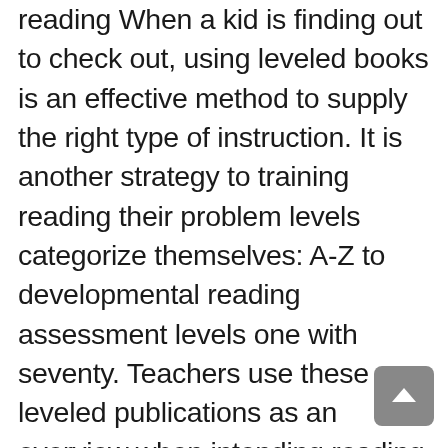reading When a kid is finding out to check out, using leveled books is an effective method to supply the right type of instruction. It is another strategy to training reading their problem levels categorize themselves: A-Z to developmental reading assessment levels one with seventy. Teachers use these leveled publications as an overview when intending reading guideline. By adding educational publications to the kid's reading repertoire, they can present brand-new topics and material throughout the day. Competent visitors just establish from lots of books. Poor readers do not read lots of publications, therefore, do not end up being skilled visitors as well as